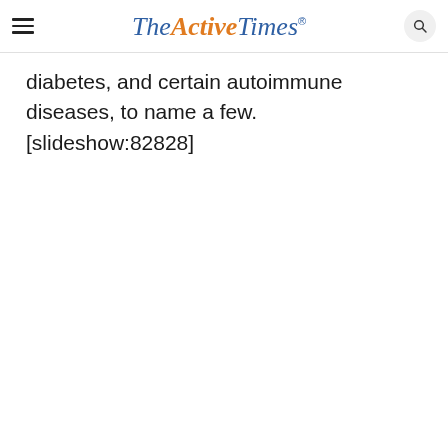TheActiveTimes
diabetes, and certain autoimmune diseases, to name a few.[slideshow:82828]